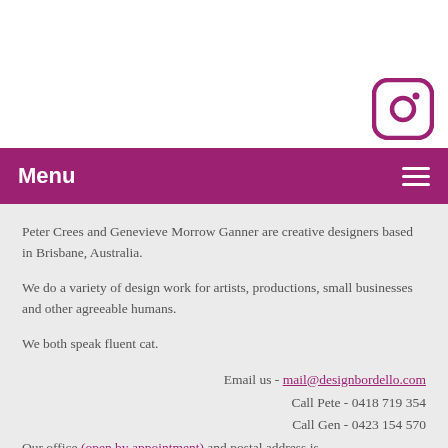[Figure (logo): Instagram logo icon in magenta/pink color on white background, top right corner]
Menu
Peter Crees and Genevieve Morrow Ganner are creative designers based in Brisbane, Australia.
We do a variety of design work for artists, productions, small businesses and other agreeable humans.
We both speak fluent cat.
Email us - mail@designbordello.com
Call Pete - 0418 719 354
Call Gen - 0423 154 570
Our office (open by appointment) and postal address is